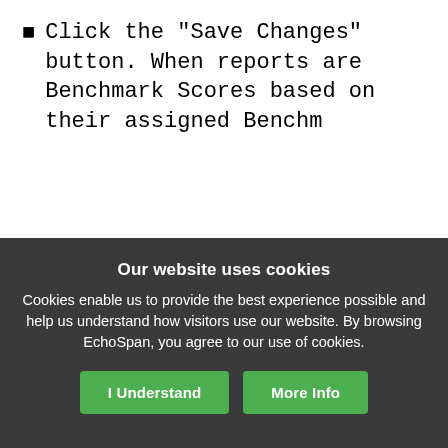Click the "Save Changes" button. When reports are Benchmark Scores based on their assigned Benchm
Our website uses cookies
Cookies enable us to provide the best experience possible and help us understand how visitors use our website. By browsing EchoSpan, you agree to our use of cookies.